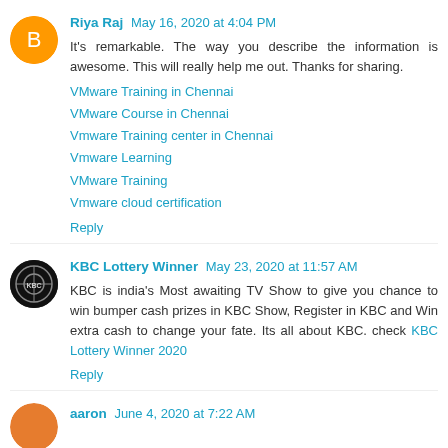Riya Raj May 16, 2020 at 4:04 PM
It's remarkable. The way you describe the information is awesome. This will really help me out. Thanks for sharing.
VMware Training in Chennai
VMware Course in Chennai
Vmware Training center in Chennai
Vmware Learning
VMware Training
Vmware cloud certification
Reply
KBC Lottery Winner May 23, 2020 at 11:57 AM
KBC is india's Most awaiting TV Show to give you chance to win bumper cash prizes in KBC Show, Register in KBC and Win extra cash to change your fate. Its all about KBC. check KBC Lottery Winner 2020
Reply
aaron June 4, 2020 at 7:22 AM